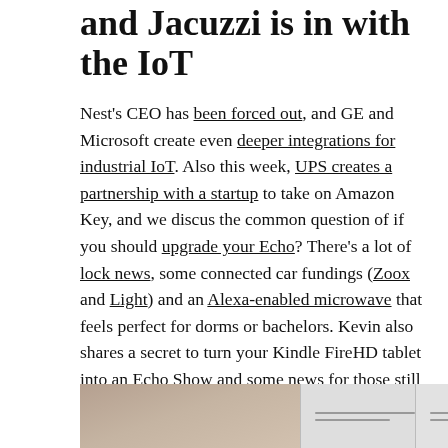and Jacuzzi is in with the IoT
Nest's CEO has been forced out, and GE and Microsoft create even deeper integrations for industrial IoT. Also this week, UPS creates a partnership with a startup to take on Amazon Key, and we discus the common question of if you should upgrade your Echo? There's a lot of lock news, some connected car fundings (Zoox and Light) and an Alexa-enabled microwave that feels perfect for dorms or bachelors. Kevin also shares a secret to turn your Kindle FireHD tablet into an Echo Show and some news for those still hoping for a decent Android WearOS device. This week's listener question is also about smart locks but for a very particular use case.
[Figure (photo): A horizontal strip image showing a person with long hair on the left panel, and two additional image panels to the right with horizontal line elements, separated by vertical dividers.]